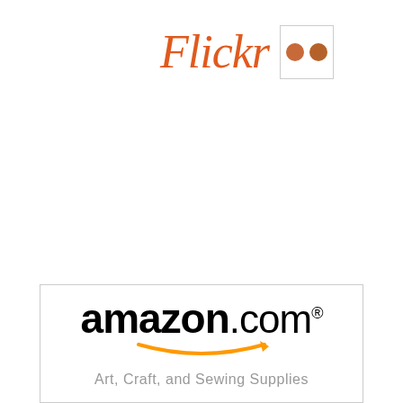[Figure (logo): Flickr logo: italic red-orange text 'Flickr' next to a small square box containing two brown/orange dots resembling the Flickr icon]
[Figure (logo): Amazon.com logo with black bold 'amazon' text, '.com' in normal weight, registered trademark symbol, and the characteristic orange curved arrow smile beneath]